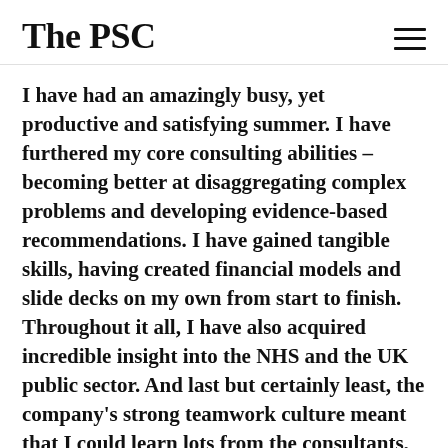The PSC
I have had an amazingly busy, yet productive and satisfying summer. I have furthered my core consulting abilities – becoming better at disaggregating complex problems and developing evidence-based recommendations. I have gained tangible skills, having created financial models and slide decks on my own from start to finish. Throughout it all, I have also acquired incredible insight into the NHS and the UK public sector. And last but certainly least, the company's strong teamwork culture meant that I could learn lots from the consultants, managers and